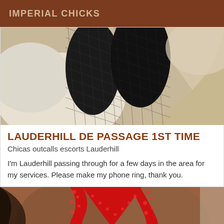IMPERIAL CHICKS
[Figure (photo): Close-up photo of legs wearing dark fishnet stockings on white bedding]
LAUDERHILL DE PASSAGE 1ST TIME
Chicas outcalls escorts Lauderhill
I'm Lauderhill passing through for a few days in the area for my services. Please make my phone ring, thank you.
[Figure (photo): Close-up photo of a woman wearing red lace lingerie]